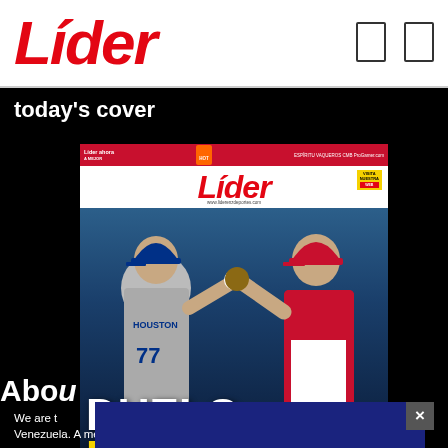Líder
today's cover
[Figure (photo): Front cover of Líder sports newspaper showing two baseball pitchers — one in Houston Astros uniform (#77) and one in Angels red — under the headline 'DUELO ESTELAR' with team logos and bottom story strips including 'Últimas Noticias', 'Tanques subió al prospecto Oswald Peraza', and 'CALENDARI' sections.]
Abou
We are t
Venezuela. A medium of the Olumas Noticias Group